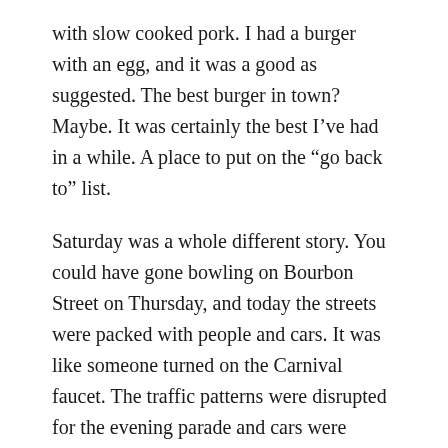with slow cooked pork. I had a burger with an egg, and it was a good as suggested. The best burger in town? Maybe. It was certainly the best I've had in a while. A place to put on the “go back to” list.
Saturday was a whole different story. You could have gone bowling on Bourbon Street on Thursday, and today the streets were packed with people and cars. It was like someone turned on the Carnival faucet. The traffic patterns were disrupted for the evening parade and cars were directed into the Quarter, causing a minor gridlock. It seemed like there were a bunch of people pre-gaming Chewbacchus, but not yet in costume, and perhaps one or two more cruise ships than usual. The streets, out into the Marigny, were full of people. I saw Beverly riding her bike in full Mardi Gras costume on